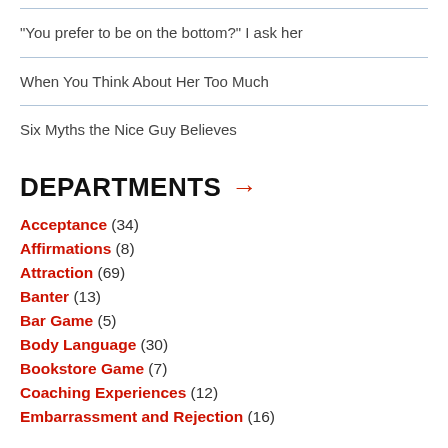"You prefer to be on the bottom?" I ask her
When You Think About Her Too Much
Six Myths the Nice Guy Believes
DEPARTMENTS →
Acceptance (34)
Affirmations (8)
Attraction (69)
Banter (13)
Bar Game (5)
Body Language (30)
Bookstore Game (7)
Coaching Experiences (12)
Embarrassment and Rejection (16)